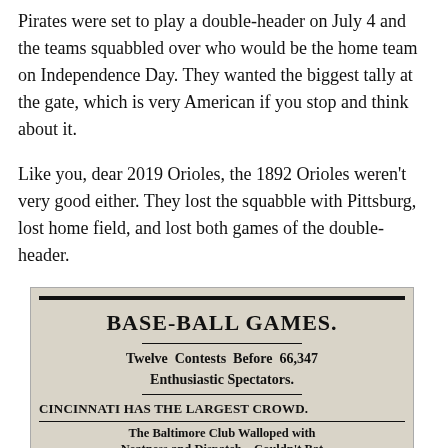Pirates were set to play a double-header on July 4 and the teams squabbled over who would be the home team on Independence Day. They wanted the biggest tally at the gate, which is very American if you stop and think about it.
Like you, dear 2019 Orioles, the 1892 Orioles weren't very good either. They lost the squabble with Pittsburg, lost home field, and lost both games of the double-header.
[Figure (photo): A scanned newspaper clipping with headline 'BASE-BALL GAMES.' and subheadings 'Twelve Contests Before 66,347 Enthusiastic Spectators.', 'CINCINNATI HAS THE LARGEST CROWD.', and body text 'The Baltimore Club Walloped with Neatness and Dispatch—Couldn't Bat Pitcher Terry—Foreman an Easy Mark']